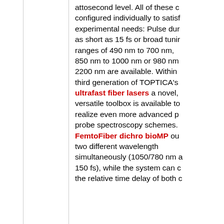attosecond level. All of these c configured individually to satisf experimental needs: Pulse dur as short as 15 fs or broad tunir ranges of 490 nm to 700 nm, 850 nm to 1000 nm or 980 nm 2200 nm are available. Within third generation of TOPTICA's ultrafast fiber lasers a novel, versatile toolbox is available to realize even more advanced p probe spectroscopy schemes. FemtoFiber dichro bioMP ou two different wavelength simultaneously (1050/780 nm a 150 fs), while the system can c the relative time delay of both c and the CPP coll...